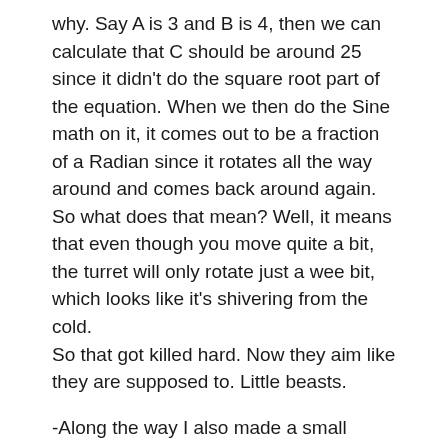why. Say A is 3 and B is 4, then we can calculate that C should be around 25 since it didn't do the square root part of the equation. When we then do the Sine math on it, it comes out to be a fraction of a Radian since it rotates all the way around and comes back around again.
So what does that mean? Well, it means that even though you move quite a bit, the turret will only rotate just a wee bit, which looks like it's shivering from the cold.
So that got killed hard. Now they aim like they are supposed to. Little beasts.
-Along the way I also made a small modification to their aiming code. I thought that it was stupid that they could shoot below themselves. If you think about a turret, they usually don't need to aim down. This is even more true for turrets designed to hit air